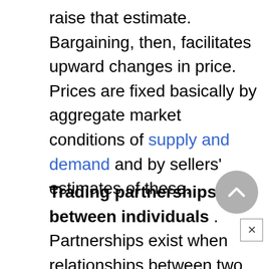raise that estimate. Bargaining, then, facilitates upward changes in price. Prices are fixed basically by aggregate market conditions of supply and demand and by sellers' estimates of these.
Trading partnerships between individuals . Partnerships exist when relationships between two traders persist apart from each specific transaction. They are found in peasant market places associated with open